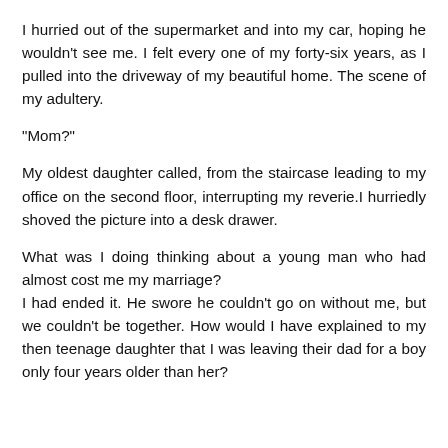I hurried out of the supermarket and into my car, hoping he wouldn't see me. I felt every one of my forty-six years, as I pulled into the driveway of my beautiful home. The scene of my adultery.
“Mom?”
My oldest daughter called, from the staircase leading to my office on the second floor, interrupting my reverie.I hurriedly shoved the picture into a desk drawer.
What was I doing thinking about a young man who had almost cost me my marriage?
I had ended it. He swore he couldn’t go on without me, but we couldn’t be together. How would I have explained to my then teenage daughter that I was leaving their dad for a boy only four years older than her?